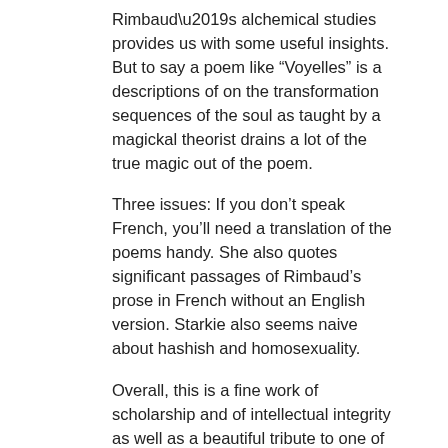Rimbaud’s alchemical studies provides us with some useful insights. But to say a poem like “Voyelles” is a descriptions of on the transformation sequences of the soul as taught by a magickal theorist drains a lot of the true magic out of the poem.
Three issues: If you don’t speak French, you’ll need a translation of the poems handy. She also quotes significant passages of Rimbaud’s prose in French without an English version. Starkie also seems naive about hashish and homosexuality.
Overall, this is a fine work of scholarship and of intellectual integrity as well as a beautiful tribute to one of greatest poets to have graced the planet.
Posted on August 9, 2019
Posted in Review
Leave a comment
READING TURGENEV